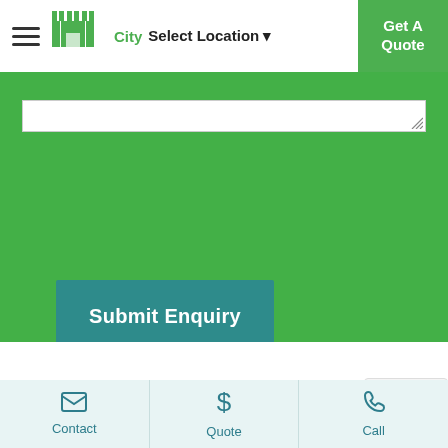City Select Location — Get A Quote
Submit Enquiry
Frequently
Contact | Quote | Call